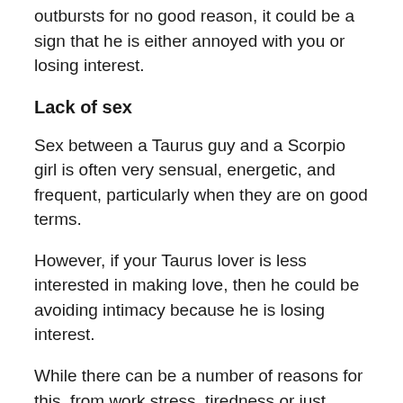outbursts for no good reason, it could be a sign that he is either annoyed with you or losing interest.
Lack of sex
Sex between a Taurus guy and a Scorpio girl is often very sensual, energetic, and frequent, particularly when they are on good terms.
However, if your Taurus lover is less interested in making love, then he could be avoiding intimacy because he is losing interest.
While there can be a number of reasons for this, from work stress, tiredness or just things on his mind.
However, if the two of you have not been getting along recently or if he has been increasingly off with you, then it could indicate that he might be thinking